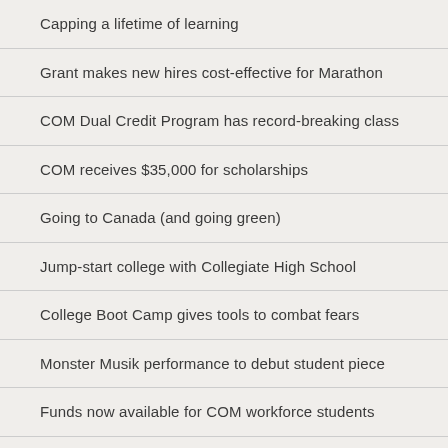Capping a lifetime of learning
Grant makes new hires cost-effective for Marathon
COM Dual Credit Program has record-breaking class
COM receives $35,000 for scholarships
Going to Canada (and going green)
Jump-start college with Collegiate High School
College Boot Camp gives tools to combat fears
Monster Musik performance to debut student piece
Funds now available for COM workforce students
COM instructor receives Patriot Award